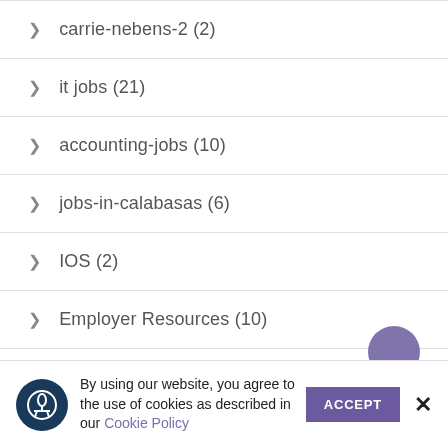carrie-nebens-2 (2)
it jobs (21)
accounting-jobs (10)
jobs-in-calabasas (6)
IOS (2)
Employer Resources (10)
Job Seeker Resources (5)
RECENT POSTS
By using our website, you agree to the use of cookies as described in our Cookie Policy  ACCEPT  ✕